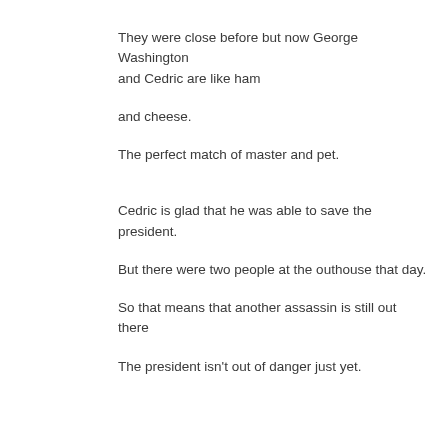They were close before but now George Washington and Cedric are like ham
and cheese.
The perfect match of master and pet.
Cedric is glad that he was able to save the president.
But there were two people at the outhouse that day.
So that means that another assassin is still out there
The president isn't out of danger just yet.